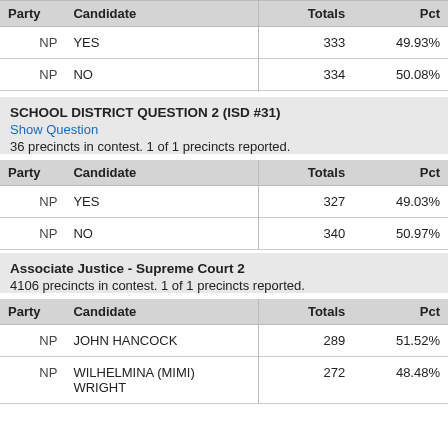| Party | Candidate | Totals | Pct |
| --- | --- | --- | --- |
| NP | YES | 333 | 49.93% |
| NP | NO | 334 | 50.08% |
SCHOOL DISTRICT QUESTION 2 (ISD #31)
Show Question
36 precincts in contest. 1 of 1 precincts reported.
| Party | Candidate | Totals | Pct |
| --- | --- | --- | --- |
| NP | YES | 327 | 49.03% |
| NP | NO | 340 | 50.97% |
Associate Justice - Supreme Court 2
4106 precincts in contest. 1 of 1 precincts reported.
| Party | Candidate | Totals | Pct |
| --- | --- | --- | --- |
| NP | JOHN HANCOCK | 289 | 51.52% |
| NP | WILHELMINA (MIMI) WRIGHT | 272 | 48.48% |